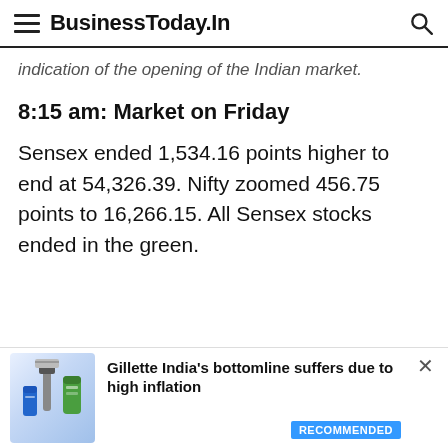BusinessToday.In
indication of the opening of the Indian market.
8:15 am: Market on Friday
Sensex ended 1,534.16 points higher to end at 54,326.39. Nifty zoomed 456.75 points to 16,266.15. All Sensex stocks ended in the green.
[Figure (other): Advertisement banner for Gillette India products (razors and shaving gel) with text: Gillette India's bottomline suffers due to high inflation. RECOMMENDED button shown.]